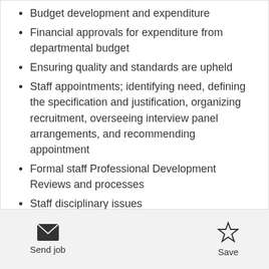Budget development and expenditure
Financial approvals for expenditure from departmental budget
Ensuring quality and standards are upheld
Staff appointments; identifying need, defining the specification and justification, organizing recruitment, overseeing interview panel arrangements, and recommending appointment
Formal staff Professional Development Reviews and processes
Staff disciplinary issues
Student disciplinary issues and complaints
Send job   Save